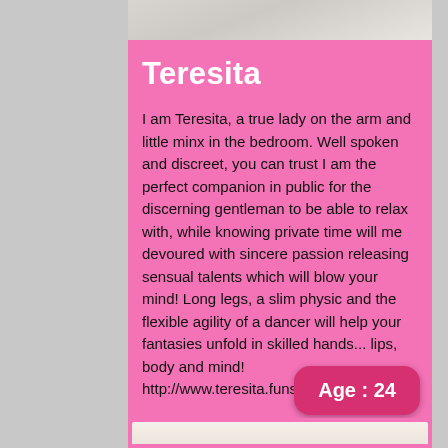[Figure (photo): Top portion of a profile photo card showing a bed scene, cropped at top]
Teresita
I am Teresita, a true lady on the arm and little minx in the bedroom. Well spoken and discreet, you can trust I am the perfect companion in public for the discerning gentleman to be able to relax with, while knowing private time will me devoured with sincere passion releasing sensual talents which will blow your mind! Long legs, a slim physic and the flexible agility of a dancer will help your fantasies unfold in skilled hands... lips, body and mind!  http://www.teresita.funsites.r
Age : 24
[Figure (photo): Bottom photo card showing a close-up of hands against a beige background, framed with pink border]